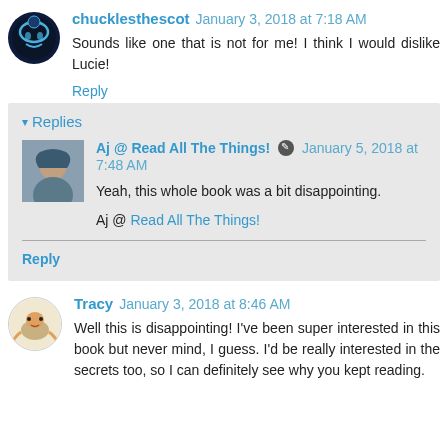chucklesthescot January 3, 2018 at 7:18 AM
Sounds like one that is not for me! I think I would dislike Lucie!
Reply
Replies
Aj @ Read All The Things! January 5, 2018 at 7:48 AM
Yeah, this whole book was a bit disappointing.
Aj @ Read All The Things!
Reply
Tracy January 3, 2018 at 8:46 AM
Well this is disappointing! I've been super interested in this book but never mind, I guess. I'd be really interested in the secrets too, so I can definitely see why you kept reading.